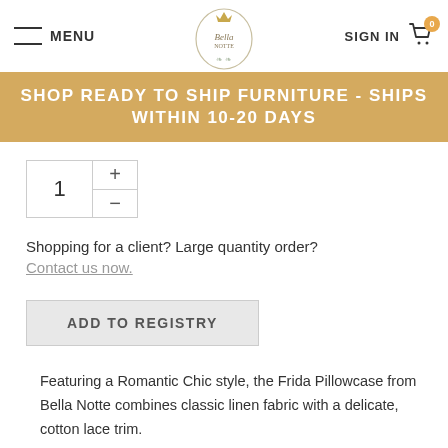MENU | The Bella Notte logo | SIGN IN | Cart (0)
SHOP READY TO SHIP FURNITURE - SHIPS WITHIN 10-20 DAYS
1 + -
Shopping for a client? Large quantity order?
Contact us now.
ADD TO REGISTRY
Featuring a Romantic Chic style, the Frida Pillowcase from Bella Notte combines classic linen fabric with a delicate, cotton lace trim.